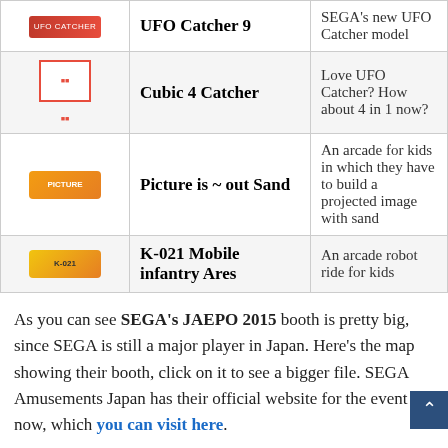| Logo | Name | Description |
| --- | --- | --- |
| [UFO Catcher logo] | UFO Catcher 9 | SEGA's new UFO Catcher model |
| [Cubic logo] | Cubic 4 Catcher | Love UFO Catcher? How about 4 in 1 now? |
| [Picture logo] | Picture is ~ out Sand | An arcade for kids in which they have to build a projected image with sand |
| [K-021 logo] | K-021 Mobile infantry Ares | An arcade robot ride for kids |
As you can see SEGA's JAEPO 2015 booth is pretty big, since SEGA is still a major player in Japan. Here's the map showing their booth, click on it to see a bigger file. SEGA Amusements Japan has their official website for the event now, which you can visit here.